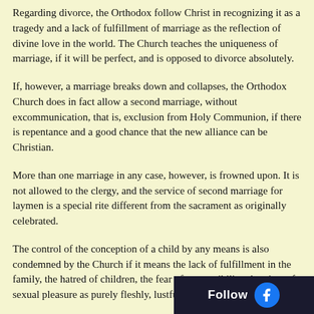Regarding divorce, the Orthodox follow Christ in recognizing it as a tragedy and a lack of fulfillment of marriage as the reflection of divine love in the world. The Church teaches the uniqueness of marriage, if it will be perfect, and is opposed to divorce absolutely.
If, however, a marriage breaks down and collapses, the Orthodox Church does in fact allow a second marriage, without excommunication, that is, exclusion from Holy Communion, if there is repentance and a good chance that the new alliance can be Christian.
More than one marriage in any case, however, is frowned upon. It is not allowed to the clergy, and the service of second marriage for laymen is a special rite different from the sacrament as originally celebrated.
The control of the conception of a child by any means is also condemned by the Church if it means the lack of fulfillment in the family, the hatred of children, the fear of responsibility, the view of sexual pleasure as purely fleshly, lustful satisfaction…